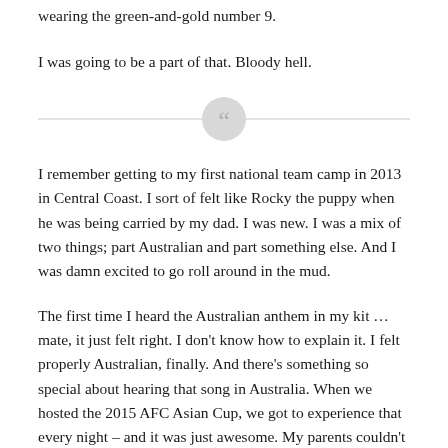wearing the green-and-gold number 9.
I was going to be a part of that. Bloody hell.
[Figure (illustration): Decorative divider with two horizontal lines and a circular quote mark in the center]
I remember getting to my first national team camp in 2013 in Central Coast. I sort of felt like Rocky the puppy when he was being carried by my dad. I was new. I was a mix of two things; part Australian and part something else. And I was damn excited to go roll around in the mud.
The first time I heard the Australian anthem in my kit … mate, it just felt right. I don't know how to explain it. I felt properly Australian, finally. And there's something so special about hearing that song in Australia. When we hosted the 2015 AFC Asian Cup, we got to experience that every night – and it was just awesome. My parents couldn't be there, unfortunately. They were in Croatia with Deni. But I knew they were watching every match. We played Oman in the group stage, and I don't know what came over me, but I just knew I was going to get a goal